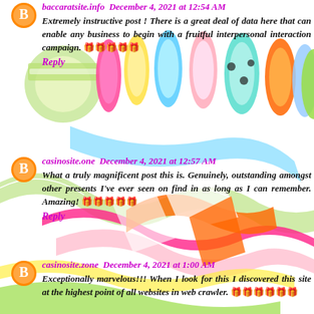[Figure (photo): Colorful ribbons arranged in a decorative background image covering the page]
baccaratsite.info  December 4, 2021 at 12:54 AM
Extremely instructive post ! There is a great deal of data here that can enable any business to begin with a fruitful interpersonal interaction campaign. 🎁🎁🎁🎁🎁
Reply
casinosite.one  December 4, 2021 at 12:57 AM
What a truly magnificent post this is. Genuinely, outstanding amongst other presents I've ever seen on find in as long as I can remember. Amazing! 🎁🎁🎁🎁🎁
Reply
casinosite.zone  December 4, 2021 at 1:00 AM
Exceptionally marvelous!!! When I look for this I discovered this site at the highest point of all websites in web crawler. 🎁🎁🎁🎁🎁🎁